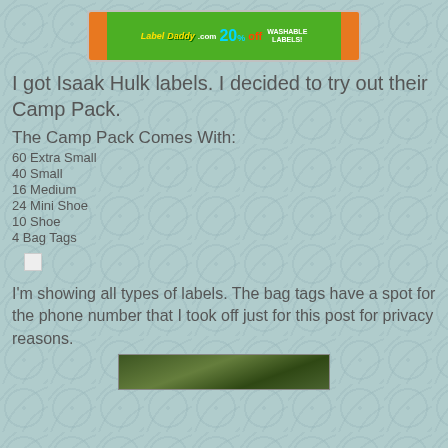[Figure (other): Advertisement banner for LabelDaddy.com showing 20% off washable labels promotion]
I got Isaak Hulk labels. I decided to try out their Camp Pack.
The Camp Pack Comes With:
60 Extra Small
40 Small
16 Medium
24 Mini Shoe
10 Shoe
4 Bag Tags
[Figure (other): Small white/light colored placeholder image box]
I'm showing all types of labels. The bag tags have a spot for the phone number that I took off just for this post for privacy reasons.
[Figure (photo): Outdoor/nature photo at bottom of page, partially visible]